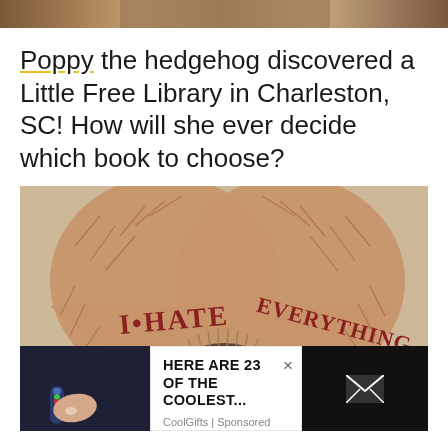[Figure (photo): Partial view of a photo at the top of the page, showing a cropped scene with brownish tones]
Poppy the hedgehog discovered a Little Free Library in Charleston, SC! How will she ever decide which book to choose?
[Figure (photo): A hedgehog peeks over a heart-shaped book cover that reads 'I HATE EVERYTHING.' in red lettering on a tan/brown background]
HERE ARE 23 OF THE COOLEST...
CoolGifts | Sponsored